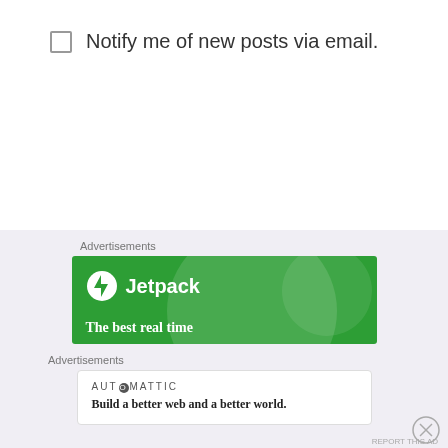Notify me of new posts via email.
Advertisements
[Figure (logo): Jetpack advertisement banner with green background, Jetpack logo (lightning bolt icon) and text 'Jetpack', with tagline 'The best real time']
Advertisements
[Figure (logo): Automattic advertisement with logo text 'AUTOMATTIC' and tagline 'Build a better web and a better world.']
REPORT THIS AD